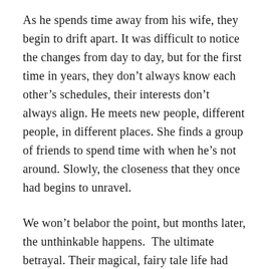As he spends time away from his wife, they begin to drift apart. It was difficult to notice the changes from day to day, but for the first time in years, they don't always know each other's schedules, their interests don't always align. He meets new people, different people, in different places. She finds a group of friends to spend time with when he's not around. Slowly, the closeness that they once had begins to unravel.
We won't belabor the point, but months later, the unthinkable happens. The ultimate betrayal. Their magical, fairy tale life had finally fizzled and died.